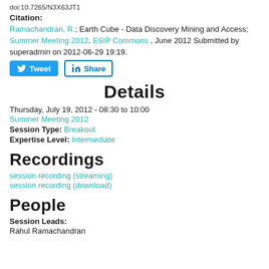doi:10.7265/N3X63JT1
Citation: Ramachandran, R.; Earth Cube - Data Discovery Mining and Access; Summer Meeting 2012. ESIP Commons , June 2012 Submitted by superadmin on 2012-06-29 19:19.
[Figure (other): Tweet and Share buttons]
Details
Thursday, July 19, 2012 - 08:30 to 10:00
Summer Meeting 2012
Session Type: Breakout
Expertise Level: Intermediate
Recordings
session recording (streaming)
session recording (download)
People
Session Leads:
Rahul Ramachandran